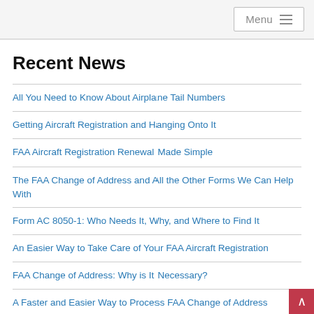Menu
Recent News
All You Need to Know About Airplane Tail Numbers
Getting Aircraft Registration and Hanging Onto It
FAA Aircraft Registration Renewal Made Simple
The FAA Change of Address and All the Other Forms We Can Help With
Form AC 8050-1: Who Needs It, Why, and Where to Find It
An Easier Way to Take Care of Your FAA Aircraft Registration
FAA Change of Address: Why is It Necessary?
A Faster and Easier Way to Process FAA Change of Address
How to Process FAA Aircraft Registration Renewal Online
Easier, Faster FAA Aircraft Registration Renewal at Our Site